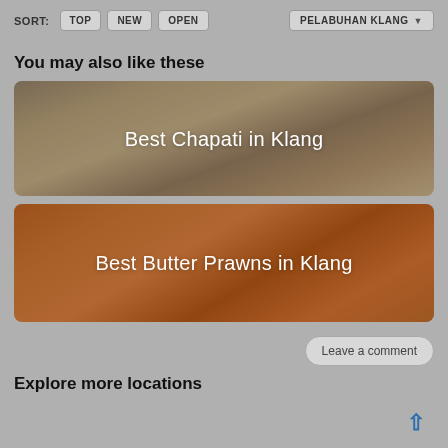SORT: TOP NEW OPEN | PELABUHAN KLANG
You may also like these
[Figure (photo): Food photo banner showing chapati flatbreads with overlay text 'Best Chapati in Klang']
[Figure (photo): Food photo banner showing butter prawns with overlay text 'Best Butter Prawns in Klang']
Leave a comment
Explore more locations